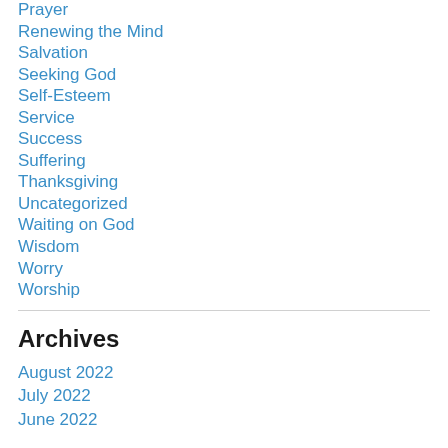Prayer
Renewing the Mind
Salvation
Seeking God
Self-Esteem
Service
Success
Suffering
Thanksgiving
Uncategorized
Waiting on God
Wisdom
Worry
Worship
Archives
August 2022
July 2022
June 2022